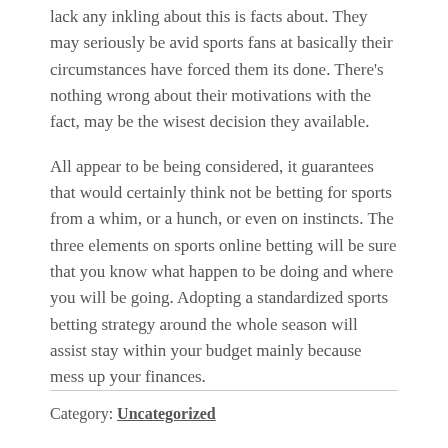lack any inkling about this is facts about. They may seriously be avid sports fans at basically their circumstances have forced them its done. There's nothing wrong about their motivations with the fact, may be the wisest decision they available.
All appear to be being considered, it guarantees that would certainly think not be betting for sports from a whim, or a hunch, or even on instincts. The three elements on sports online betting will be sure that you know what happen to be doing and where you will be going. Adopting a standardized sports betting strategy around the whole season will assist stay within your budget mainly because mess up your finances.
Category: Uncategorized